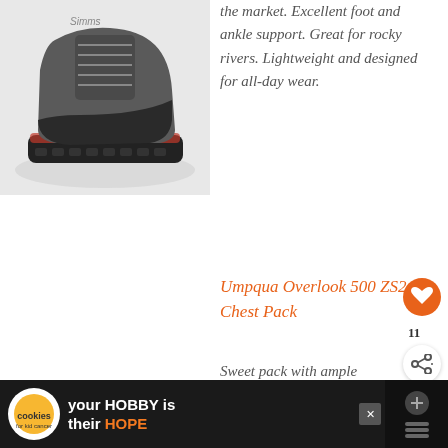[Figure (photo): Gray Simms wading boot with orange accents, side view on white background]
the market. Excellent foot and ankle support. Great for rocky rivers. Lightweight and designed for all-day wear.
Umpqua Overlook 500 ZS2 Chest Pack
[Figure (photo): Olive/khaki Umpqua Overlook 500 ZS2 chest pack with straps and zipper]
Sweet pack with ample storage. Unique harness system reduces nec...
Sleek tapered face
[Figure (infographic): What's Next overlay: Pricing Plans / DIY Fly...]
[Figure (screenshot): Advertisement banner: cookies for kid cancer - your HOBBY is their HOPE]